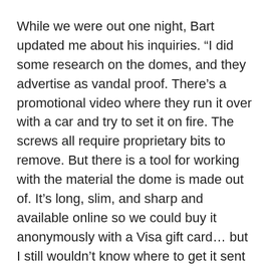While we were out one night, Bart updated me about his inquiries. “I did some research on the domes, and they advertise as vandal proof. There’s a promotional video where they run it over with a car and try to set it on fire. The screws all require proprietary bits to remove. But there is a tool for working with the material the dome is made out of. It’s long, slim, and sharp and available online so we could buy it anonymously with a Visa gift card… but I still wouldn’t know where to get it sent to.”
We decided to table the subject for the time being. Meanwhile, I’d been developing my own special tool and was excited to test it in the field. I’d been in Conglomo-Mart’s camping section when I’d stumbled across a small device called the “Commando Saw.”